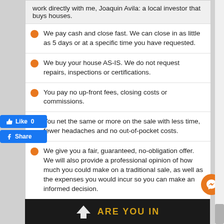work directly with me, Joaquin Avila: a local investor that buys houses.
We pay cash and close fast. We can close in as little as 5 days or at a specific time you have requested.
We buy your house AS-IS. We do not request repairs, inspections or certifications.
You pay no up-front fees, closing costs or commissions.
You net the same or more on the sale with less time, fewer headaches and no out-of-pocket costs.
We give you a fair, guaranteed, no-obligation offer. We will also provide a professional opinion of how much you could make on a traditional sale, as well as the expenses you would incur so you can make an informed decision.
[Figure (screenshot): Facebook Like and Share buttons overlay]
[Figure (logo): Bottom dark banner with house icon and 'ARE YOU IN' text in gold]
[Figure (infographic): Orange circular Messenger chat button with chat icon]